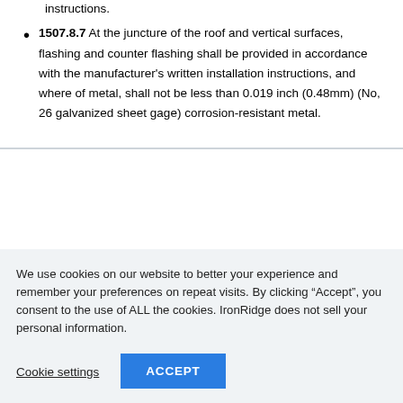instructions.
1507.8.7 At the juncture of the roof and vertical surfaces, flashing and counter flashing shall be provided in accordance with the manufacturer's written installation instructions, and where of metal, shall not be less than 0.019 inch (0.48mm) (No, 26 galvanized sheet gage) corrosion-resistant metal.
We use cookies on our website to better your experience and remember your preferences on repeat visits. By clicking “Accept”, you consent to the use of ALL the cookies. IronRidge does not sell your personal information.
Cookie settings   ACCEPT